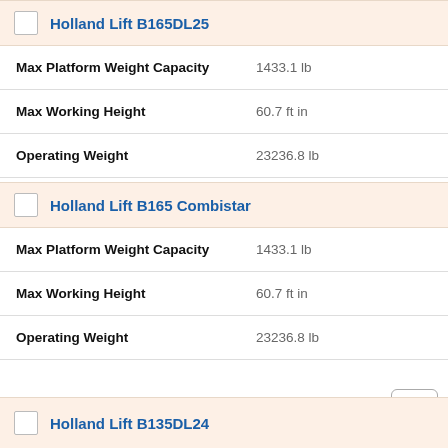Holland Lift B165DL25
Max Platform Weight Capacity: 1433.1 lb
Max Working Height: 60.7 ft in
Operating Weight: 23236.8 lb
Holland Lift B165 Combistar
Max Platform Weight Capacity: 1433.1 lb
Max Working Height: 60.7 ft in
Operating Weight: 23236.8 lb
Holland Lift B135DL24